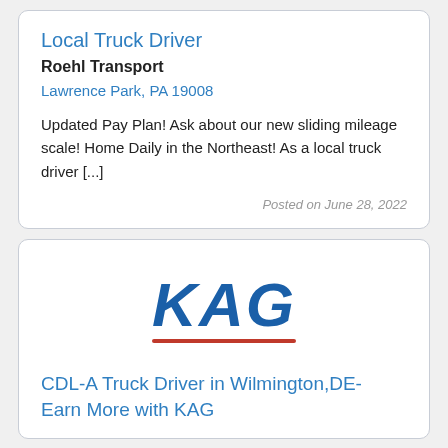Local Truck Driver
Roehl Transport
Lawrence Park, PA 19008
Updated Pay Plan! Ask about our new sliding mileage scale! Home Daily in the Northeast! As a local truck driver [...]
Posted on June 28, 2022
[Figure (logo): KAG company logo: bold italic blue letters 'KAG' with a red underline]
CDL-A Truck Driver in Wilmington,DE- Earn More with KAG